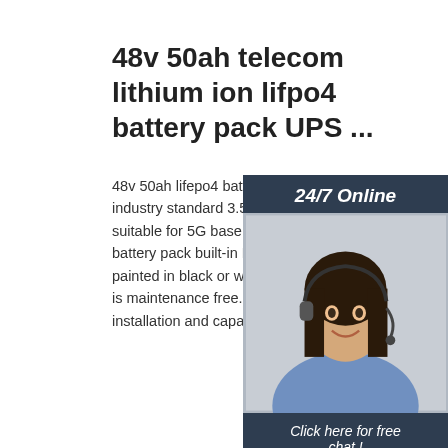48v 50ah telecom lithium ion lifpo4 battery pack UPS ...
48v 50ah lifepo4 battery pack system build to industry standard 3.5U box. This battery module suitable for 5G base station telecom battery pack built-in BMS and stainless steel painted in black or white. The ups battery 48 is maintenance free. module is design for easy installation and capacity expansion.
[Figure (photo): Woman with headset smiling, customer service representative, with '24/7 Online' header, 'Click here for free chat!' text, and orange QUOTATION button]
Get Price